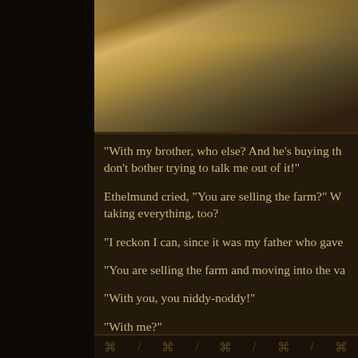[Figure (screenshot): Top portion of a video game screenshot showing a character's torso/clothing in warm golden/brown tones, appearing to be from a role-playing game with a fantasy medieval setting.]
“With my brother, who else? And he’s buying th… don’t bother trying to talk me out of it!”
Ethelmund cried, “You are selling the farm?” W… taking everything, too?
“I reckon I can, since it was my father who gave…
“You are selling the farm and moving into the va…
“With you, you niddy-noddy!”
“With me?”